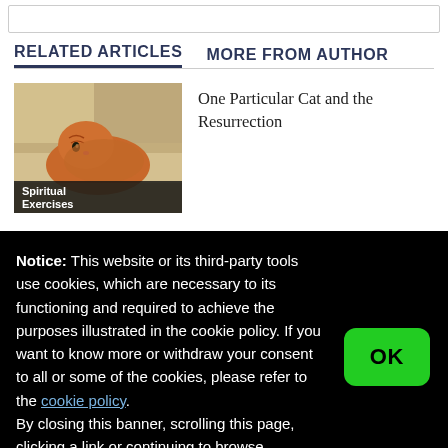RELATED ARTICLES    MORE FROM AUTHOR
[Figure (photo): Photo of an orange cat resting, with a label overlay reading 'Spiritual Exercises']
One Particular Cat and the Resurrection
Notice: This website or its third-party tools use cookies, which are necessary to its functioning and required to achieve the purposes illustrated in the cookie policy. If you want to know more or withdraw your consent to all or some of the cookies, please refer to the cookie policy.
By closing this banner, scrolling this page, clicking a link or continuing to browse otherwise, you agree to the use of cookies.